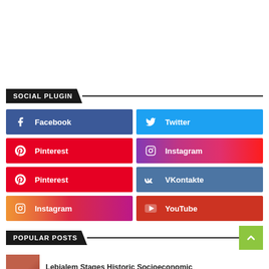SOCIAL PLUGIN
Facebook
Twitter
Pinterest
Instagram
Pinterest
VKontakte
Instagram
YouTube
POPULAR POSTS
Lebialem Stages Historic Socioeconomic